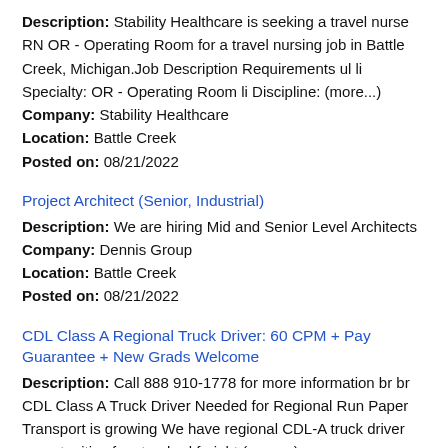Description: Stability Healthcare is seeking a travel nurse RN OR - Operating Room for a travel nursing job in Battle Creek, Michigan.Job Description Requirements ul li Specialty: OR - Operating Room li Discipline: (more...) Company: Stability Healthcare Location: Battle Creek Posted on: 08/21/2022
Project Architect (Senior, Industrial)
Description: We are hiring Mid and Senior Level Architects Company: Dennis Group Location: Battle Creek Posted on: 08/21/2022
CDL Class A Regional Truck Driver: 60 CPM + Pay Guarantee + New Grads Welcome
Description: Call 888 910-1778 for more information br br CDL Class A Truck Driver Needed for Regional Run Paper Transport is growing We have regional CDL-A truck driver opportunities for standard freight (more...) Company: Paper Transport Location: Battle Creek Posted on: 08/21/2022